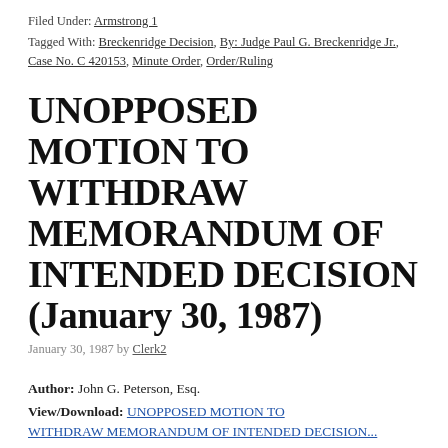Filed Under: Armstrong 1
Tagged With: Breckenridge Decision, By: Judge Paul G. Breckenridge Jr., Case No. C 420153, Minute Order, Order/Ruling
UNOPPOSED MOTION TO WITHDRAW MEMORANDUM OF INTENDED DECISION (January 30, 1987)
January 30, 1987 by Clerk2
Author: John G. Peterson, Esq.
View/Download: UNOPPOSED MOTION TO WITHDRAW MEMORANDUM OF INTENDED DECISION...